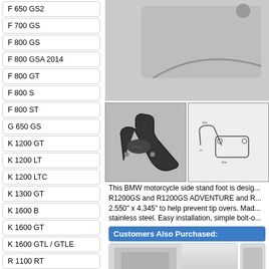F 650 GS2
F 700 GS
F 800 GS
F 800 GSA 2014
F 800 GT
F 800 S
F 800 ST
G 650 GS
K 1200 GT
K 1200 LT
K 1200 LTC
K 1300 GT
K 1600 B
K 1600 GT
K 1600 GTL / GTLE
R 1100 RT
R 1150 GS
R 1150 R
[Figure (photo): Top photo of BMW motorcycle side stand foot product - black component against grey background]
[Figure (photo): Left small photo showing side stand foot from front view - black metal piece]
[Figure (photo): Right small photo showing side stand foot technical/line drawing view]
This BMW motorcycle side stand foot is desig... R1200GS and R1200GS ADVENTURE and R... 2.550" x 4.345" to help prevent tip overs. Mad... stainless steel. Easy installation, simple bolt-o...
Customers Also Purchased:
[Figure (photo): Thumbnail of a related product - also purchased item 1]
[Figure (photo): Thumbnail of a related product - also purchased item 2 (partially visible)]